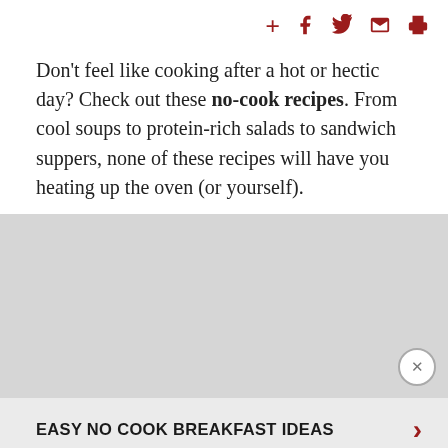[social share icons: +, f, Twitter, mail, print]
Don't feel like cooking after a hot or hectic day? Check out these no-cook recipes. From cool soups to protein-rich salads to sandwich suppers, none of these recipes will have you heating up the oven (or yourself).
[Figure (other): Gray advertisement banner placeholder with a close (X) button in the bottom right corner]
EASY NO COOK BREAKFAST IDEAS | Ad | An AMG Site